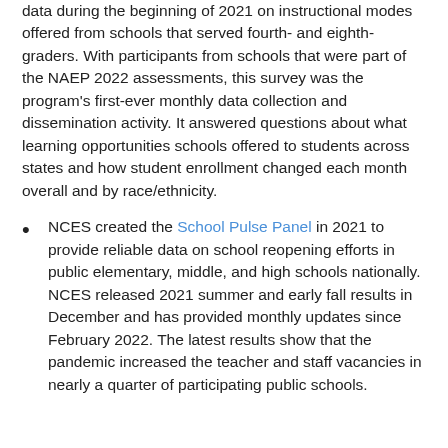data during the beginning of 2021 on instructional modes offered from schools that served fourth- and eighth-graders. With participants from schools that were part of the NAEP 2022 assessments, this survey was the program's first-ever monthly data collection and dissemination activity. It answered questions about what learning opportunities schools offered to students across states and how student enrollment changed each month overall and by race/ethnicity.
NCES created the School Pulse Panel in 2021 to provide reliable data on school reopening efforts in public elementary, middle, and high schools nationally. NCES released 2021 summer and early fall results in December and has provided monthly updates since February 2022. The latest results show that the pandemic increased the teacher and staff vacancies in nearly a quarter of participating public schools.